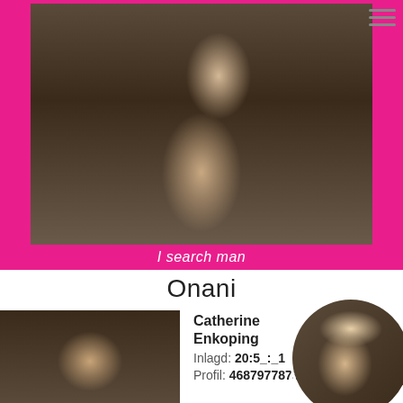[Figure (photo): Woman in black bikini photographed from behind in a bedroom setting]
I search man
Onani
[Figure (photo): Woman with dark hair in ponytail, close-up portrait photo]
[Figure (photo): Circular avatar photo of blonde woman in black outfit]
Catherine
Enkoping
Inlagd: 20:5_:_1
Profil: 46879778731